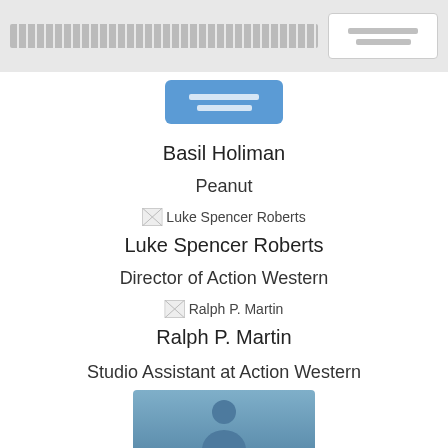[navigation bar with search field and button]
[blue button]
Basil Holiman
Peanut
[Figure (photo): Broken image placeholder for Luke Spencer Roberts]
Luke Spencer Roberts
Director of Action Western
[Figure (photo): Broken image placeholder for Ralph P. Martin]
Ralph P. Martin
Studio Assistant at Action Western
[Figure (photo): Avatar/profile photo placeholder with blue background and person silhouette]